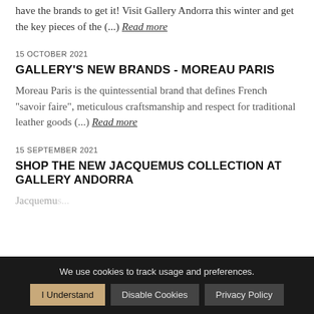have the brands to get it! Visit Gallery Andorra this winter and get the key pieces of the (...) Read more
15 OCTOBER 2021
GALLERY'S NEW BRANDS - MOREAU PARIS
Moreau Paris is the quintessential brand that defines French "savoir faire", meticulous craftsmanship and respect for traditional leather goods (...) Read more
15 SEPTEMBER 2021
SHOP THE NEW JACQUEMUS COLLECTION AT GALLERY ANDORRA
We use cookies to track usage and preferences.
I Understand | Disable Cookies | Privacy Policy